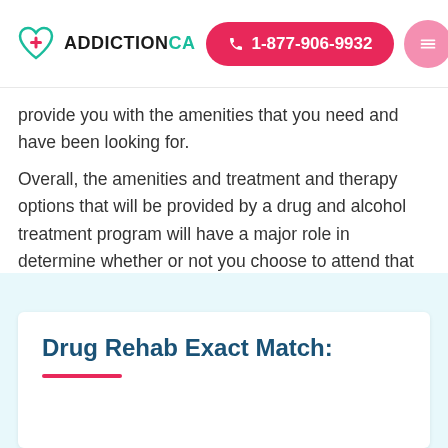ADDICTIONCA | 1-877-906-9932
provide you with the amenities that you need and have been looking for.
Overall, the amenities and treatment and therapy options that will be provided by a drug and alcohol treatment program will have a major role in determine whether or not you choose to attend that program in Madison, Virginia - as well as the levels of success that you are highly likely to achieve.
Drug Rehab Exact Match: